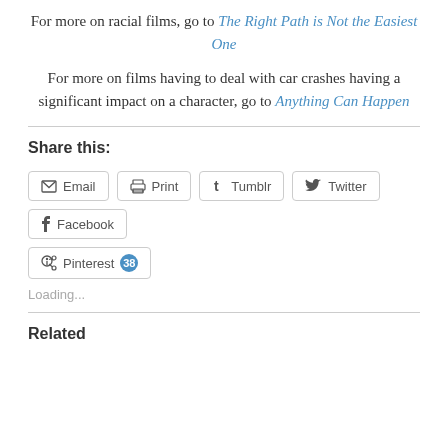For more on racial films, go to The Right Path is Not the Easiest One
For more on films having to deal with car crashes having a significant impact on a character, go to Anything Can Happen
Share this:
Email
Print
Tumblr
Twitter
Facebook
Pinterest 38
Loading...
Related